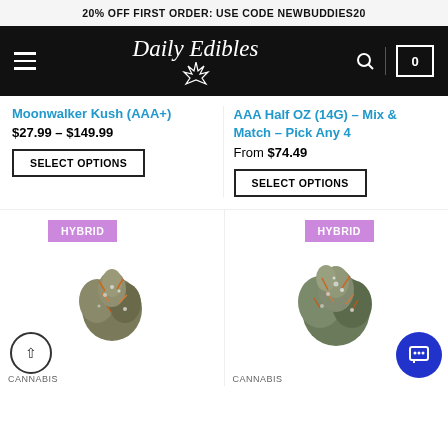20% OFF FIRST ORDER: USE CODE NEWBUDDIES20
[Figure (logo): Daily Edibles logo with star/cannabis leaf icon on black navbar with hamburger menu, search icon, and cart showing 0]
Moonwalker Kush (AAA+)
$27.99 – $149.99
SELECT OPTIONS
AAA Half OZ (14G) – Mix & Match – Pick Any 4
From $74.49
SELECT OPTIONS
[Figure (photo): Cannabis bud product photo with HYBRID badge - left product card]
[Figure (photo): Cannabis bud product photo with HYBRID badge - right product card]
CANNABIS
CANNABIS